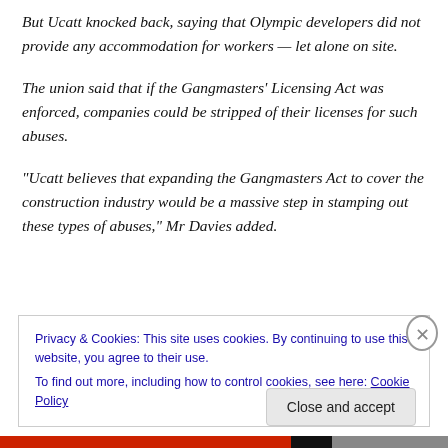But Ucatt knocked back, saying that Olympic developers did not provide any accommodation for workers — let alone on site.
The union said that if the Gangmasters' Licensing Act was enforced, companies could be stripped of their licenses for such abuses.
“Ucatt believes that expanding the Gangmasters Act to cover the construction industry would be a massive step in stamping out these types of abuses,” Mr Davies added.
Privacy & Cookies: This site uses cookies. By continuing to use this website, you agree to their use. To find out more, including how to control cookies, see here: Cookie Policy
Close and accept